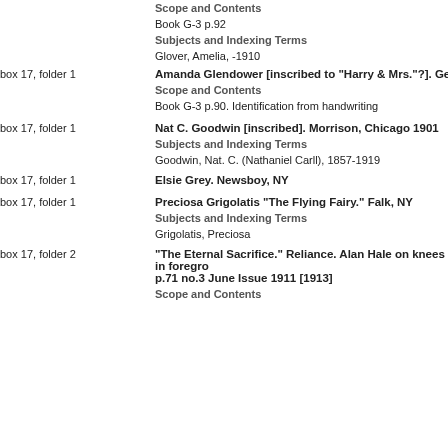Scope and Contents
Book G-3 p.92
Subjects and Indexing Terms
Glover, Amelia, -1910
box 17, folder 1
Amanda Glendower [inscribed to "Harry & Mrs."?]. Gerhard Sist
Scope and Contents
Book G-3 p.90. Identification from handwriting
box 17, folder 1
Nat C. Goodwin [inscribed]. Morrison, Chicago 1901
Subjects and Indexing Terms
Goodwin, Nat. C. (Nathaniel Carll), 1857-1919
box 17, folder 1
Elsie Grey. Newsboy, NY
box 17, folder 1
Preciosa Grigolatis "The Flying Fairy." Falk, NY
Subjects and Indexing Terms
Grigolatis, Preciosa
box 17, folder 2
"The Eternal Sacrifice." Reliance. Alan Hale on knees in foregro p.71 no.3 June Issue 1911 [1913]
Scope and Contents